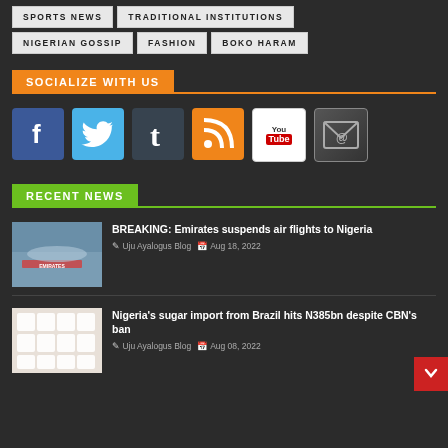SPORTS NEWS
TRADITIONAL INSTITUTIONS
NIGERIAN GOSSIP
FASHION
BOKO HARAM
SOCIALIZE WITH US
[Figure (infographic): Social media icons: Facebook, Twitter, Tumblr, RSS, YouTube, Email]
RECENT NEWS
[Figure (photo): Emirates airplane on tarmac]
BREAKING: Emirates suspends air flights to Nigeria
Uju Ayalogus Blog   Aug 18, 2022
[Figure (photo): Sugar cubes close-up]
Nigeria's sugar import from Brazil hits N385bn despite CBN's ban
Uju Ayalogus Blog   Aug 08, 2022